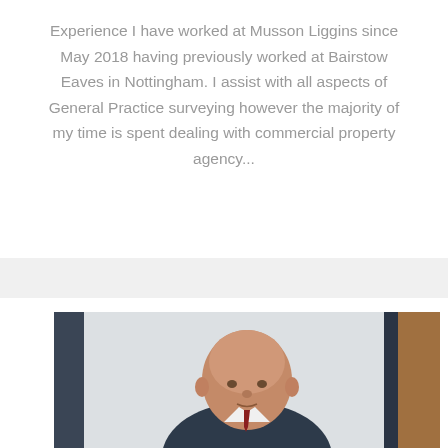Experience I have worked at Musson Liggins since May 2018 having previously worked at Bairstow Eaves in Nottingham. I assist with all aspects of General Practice surveying however the majority of my time is spent dealing with commercial property agency...
[Figure (photo): Professional headshot of a bald man in a suit, photographed in an office or indoor setting with a light background and dark vertical element visible on the right.]